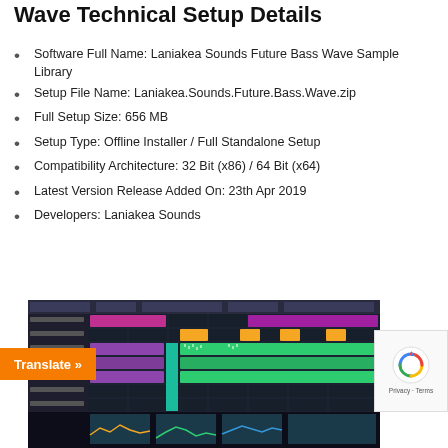Wave Technical Setup Details
Software Full Name: Laniakea Sounds Future Bass Wave Sample Library
Setup File Name: Laniakea.Sounds.Future.Bass.Wave.zip
Full Setup Size: 656 MB
Setup Type: Offline Installer / Full Standalone Setup
Compatibility Architecture: 32 Bit (x86) / 64 Bit (x64)
Latest Version Release Added On: 23th Apr 2019
Developers: Laniakea Sounds
[Figure (screenshot): Screenshot of a digital audio workstation (DAW) showing a music production timeline with various colored tracks, patterns, and MIDI data.]